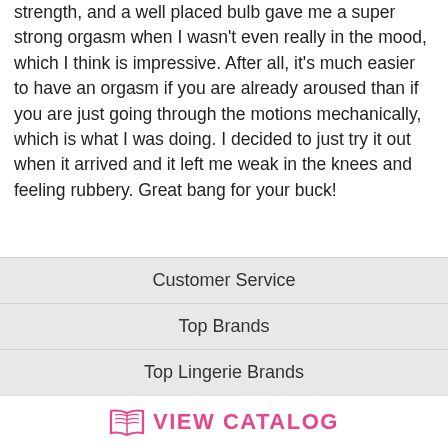strength, and a well placed bulb gave me a super strong orgasm when I wasn't even really in the mood, which I think is impressive. After all, it's much easier to have an orgasm if you are already aroused than if you are just going through the motions mechanically, which is what I was doing. I decided to just try it out when it arrived and it left me weak in the knees and feeling rubbery. Great bang for your buck!
Show All Reviews
Home › Butterfly Kiss Vibe
Customer Service
Top Brands
Top Lingerie Brands
[Figure (logo): VIEW CATALOG button with open book icon in pink]